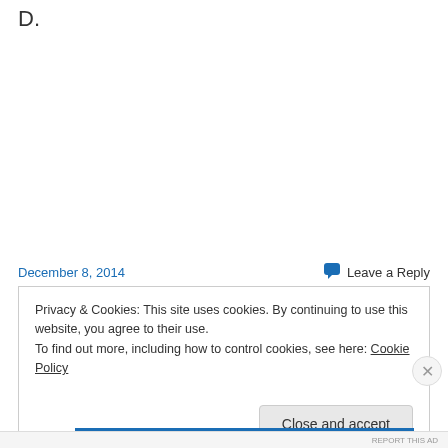D.
December 8, 2014
Leave a Reply
Privacy & Cookies: This site uses cookies. By continuing to use this website, you agree to their use.
To find out more, including how to control cookies, see here: Cookie Policy
Close and accept